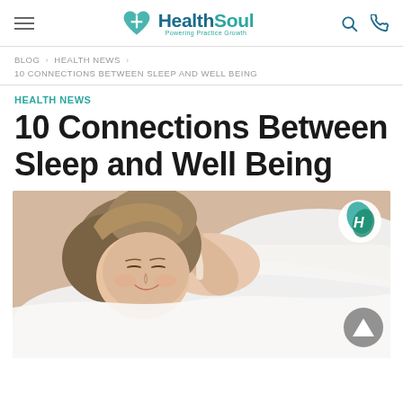HealthSoul — Powering Practice Growth
BLOG > HEALTH NEWS > 10 CONNECTIONS BETWEEN SLEEP AND WELL BEING
HEALTH NEWS
10 Connections Between Sleep and Well Being
[Figure (photo): A smiling woman sleeping peacefully on a white pillow, covered with white blanket, with a HealthSoul watermark logo in the top-right corner and a scroll-to-top button in the bottom-right corner.]